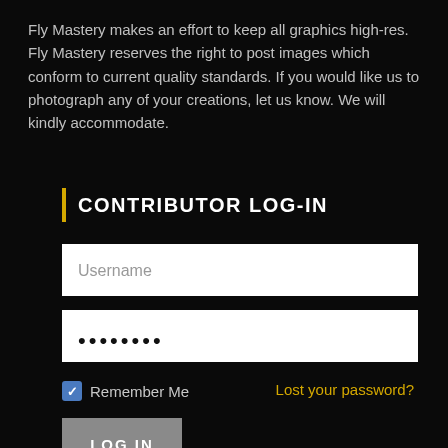Fly Mastery makes an effort to keep all graphics high-res. Fly Mastery reserves the right to post images which conform to current quality standards. If you would like us to photograph any of your creations, let us know. We will kindly accommodate.
CONTRIBUTOR LOG-IN
Username
••••••••
Remember Me
Lost your password?
LOG IN